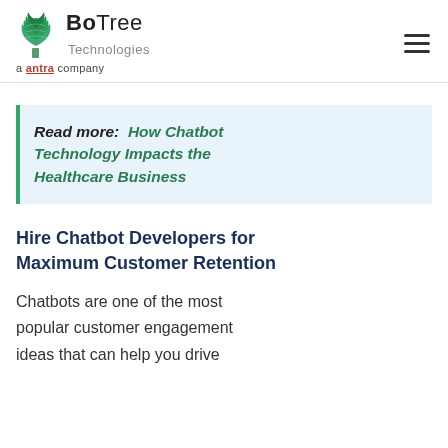BoTree Technologies a antra company
Read more: How Chatbot Technology Impacts the Healthcare Business
Hire Chatbot Developers for Maximum Customer Retention
Chatbots are one of the most popular customer engagement ideas that can help you drive